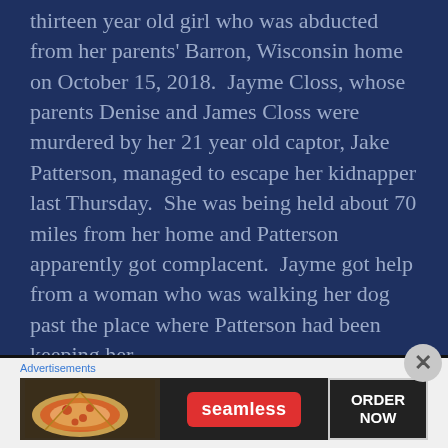thirteen year old girl who was abducted from her parents' Barron, Wisconsin home on October 15, 2018.  Jayme Closs, whose parents Denise and James Closs were murdered by her 21 year old captor, Jake Patterson, managed to escape her kidnapper last Thursday.  She was being held about 70 miles from her home and Patterson apparently got complacent.  Jayme got help from a woman who was walking her dog past the place where Patterson had been keeping her.
Advertisements
[Figure (photo): Seamless food delivery advertisement banner showing pizza on the left, a red Seamless logo badge in the center, and an 'ORDER NOW' button outlined in white on the right, all on a dark background.]